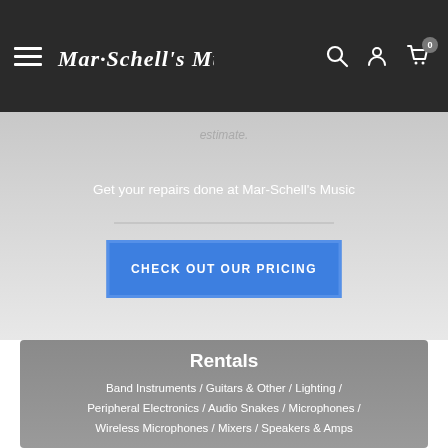Mar-Schell's Music navigation bar with hamburger menu, logo, search, account, and cart icons
estimate.
Get your repairs done at Mar-Schell's Music
CHECK OUT OUR PRICING
Rentals
Band Instruments / Guitars & Other / Lighting / Peripheral Electronics / Audio Snakes / Microphones / Wireless Microphones / Mixers / Speakers & Amps